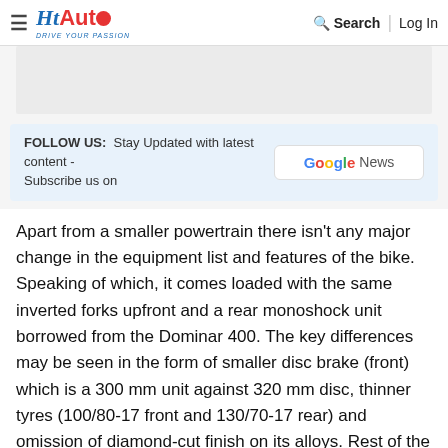HT Auto - Drive Your Passion | Search | Log In
[Figure (other): Gray advertisement banner area]
FOLLOW US: Stay Updated with latest content - Subscribe us on Google News
Apart from a smaller powertrain there isn't any major change in the equipment list and features of the bike. Speaking of which, it comes loaded with the same inverted forks upfront and a rear monoshock unit borrowed from the Dominar 400. The key differences may be seen in the form of smaller disc brake (front) which is a 300 mm unit against 320 mm disc, thinner tyres (100/80-17 front and 130/70-17 rear) and omission of diamond-cut finish on its alloys. Rest of the details remain as is. It also gets the same horizontally placed